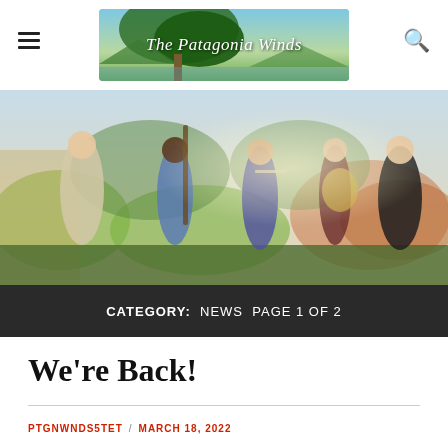The Patagonia Winds — navigation header with hamburger menu and search icon
[Figure (photo): Five musicians standing outdoors in a natural landscape setting, each holding their instrument (bassoon, flute, french horn, clarinet). They are dressed in formal attire.]
CATEGORY: NEWS PAGE 1 OF 2
We're Back!
PTGNWNDS5TET / MARCH 18, 2022